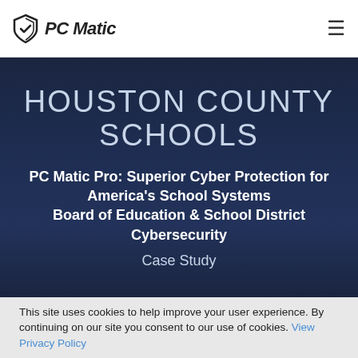PC Matic
HOUSTON COUNTY SCHOOLS
PC Matic Pro: Superior Cyber Protection for America's School Systems Board of Education & School District Cybersecurity
Case Study
This site uses cookies to help improve your user experience. By continuing on our site you consent to our use of cookies. View Privacy Policy